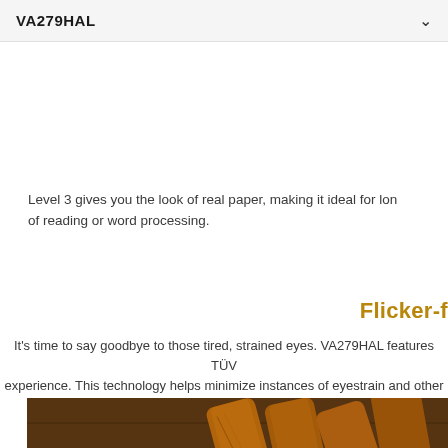VA279HAL
Level 3 gives you the look of real paper, making it ideal for long sessions of reading or word processing.
Flicker-f
It's time to say goodbye to those tired, strained eyes. VA279HAL features TÜV experience. This technology helps minimize instances of eyestrain and other dam f
[Figure (photo): Close-up photo of star anise, cinnamon sticks, and cloves/spices arranged on a wooden surface with warm brown tones.]